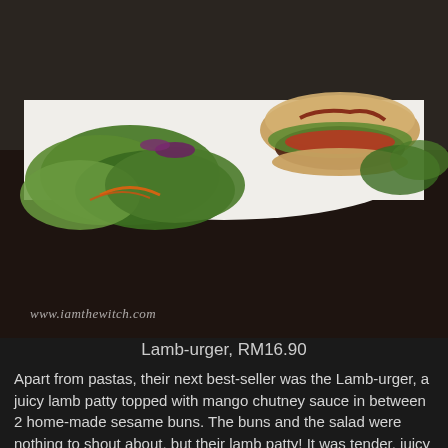[Figure (photo): Food photograph showing a lamb burger / Lamb-urger on a white plate with fresh green salad leaves, carrots, and purple cabbage. Watermark reads www.iamthewitch.com]
Lamb-urger, RM16.90
Apart from pastas, their next best-seller was the Lamb-urger, a juicy lamb patty topped with mango chutney sauce in between 2 home-made sesame buns. The buns and the salad were nothing to shout about, but their lamb patty! It was tender, juicy and exploded with lamb flavours (in a good way). I could really taste the sweetness of the lamb juices, while the mango chutney managed to pair very well with the patty. This was easily one of the better lamb burgers that I've tried before.
[Figure (photo): Close-up food photograph showing a sliced lamb burger patty with dark sauce drizzled over it, on a white plate, dark background.]